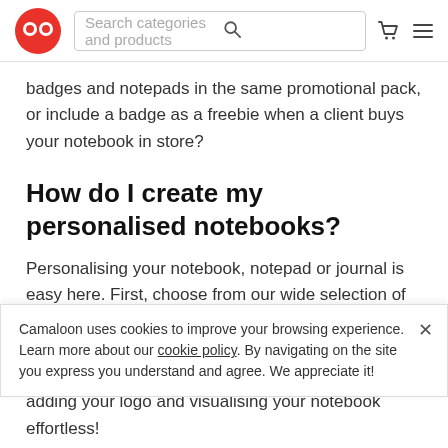Search categories and products
badges and notepads in the same promotional pack, or include a badge as a freebie when a client buys your notebook in store?
How do I create my personalised notebooks?
Personalising your notebook, notepad or journal is easy here. First, choose from our wide selection of styles made from different materials and with various choices of binders.
Camaloon uses cookies to improve your browsing experience. Learn more about our cookie policy. By navigating on the site you express you understand and agree. We appreciate it!
adding your logo and visualising your notebook effortless!